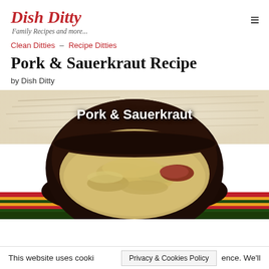Dish Ditty — Family Recipes and more...
Clean Ditties – Recipe Ditties
Pork & Sauerkraut Recipe
by Dish Ditty
[Figure (photo): A black bowl filled with pork and sauerkraut on a colorful striped cloth background, with the text 'Pork & Sauerkraut' overlaid in white bold letters.]
This website uses cookies to improve your experience. We'll